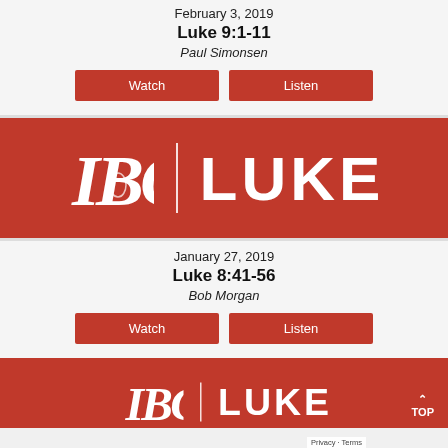February 3, 2019
Luke 9:1-11
Paul Simonsen
Watch | Listen
[Figure (logo): IBC Luke series logo — red banner with IBC monogram in serif italic white letters, vertical white divider, and LUKE in large white sans-serif bold letters]
January 27, 2019
Luke 8:41-56
Bob Morgan
Watch | Listen
[Figure (logo): Partial IBC Luke series logo — red banner cropped at bottom of page, showing IBC monogram and partial LUKE text in white]